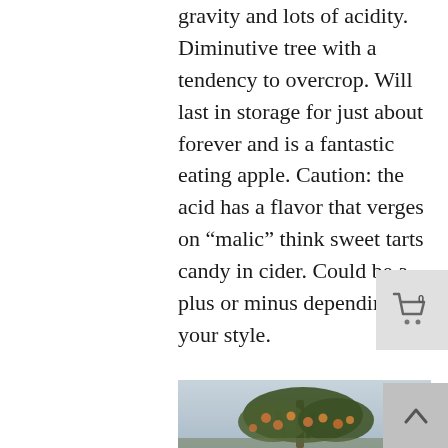gravity and lots of acidity. Diminutive tree with a tendency to overcrop. Will last in storage for just about forever and is a fantastic eating apple. Caution: the acid has a flavor that verges on “malic” think sweet tarts candy in cider. Could be a plus or minus depending on your style.
Read more
[Figure (photo): Apple tree with many apples on branches, photographed outdoors]